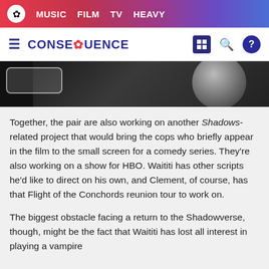MUSIC  FILM  TV  HEAVY
CONSEQUENCE
[Figure (screenshot): Dark movie still showing a button overlay on the left and a large stone or moon sphere on the right against a black background]
Together, the pair are also working on another Shadows-related project that would bring the cops who briefly appear in the film to the small screen for a comedy series. They’re also working on a show for HBO. Waititi has other scripts he'd like to direct on his own, and Clement, of course, has that Flight of the Conchords reunion tour to work on.
The biggest obstacle facing a return to the Shadowverse, though, might be the fact that Waititi has lost all interest in playing a vampire